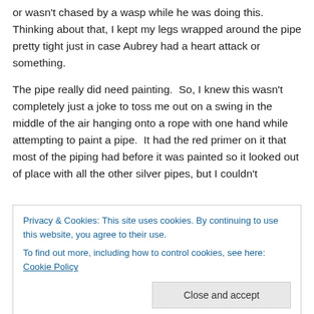or wasn't chased by a wasp while he was doing this. Thinking about that, I kept my legs wrapped around the pipe pretty tight just in case Aubrey had a heart attack or something.
The pipe really did need painting.  So, I knew this wasn't completely just a joke to toss me out on a swing in the middle of the air hanging onto a rope with one hand while attempting to paint a pipe.  It had the red primer on it that most of the piping had before it was painted so it looked out of place with all the other silver pipes, but I couldn't
Privacy & Cookies: This site uses cookies. By continuing to use this website, you agree to their use.
To find out more, including how to control cookies, see here: Cookie Policy
his mouth with little success.  But like Jerry, I figured it had